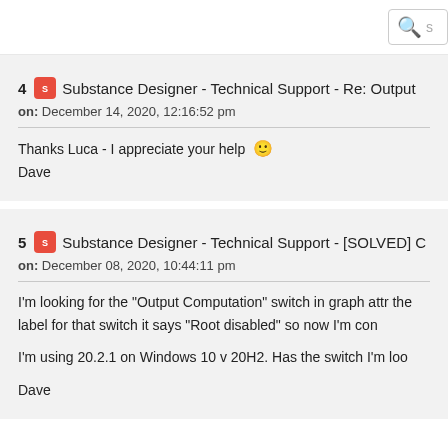Search
4  Substance Designer - Technical Support - Re: Output
on: December 14, 2020, 12:16:52 pm
Thanks Luca - I appreciate your help 🙂
Dave
5  Substance Designer - Technical Support - [SOLVED] C
on: December 08, 2020, 10:44:11 pm
I'm looking for the "Output Computation" switch in graph attr the label for that switch it says "Root disabled" so now I'm con

I'm using 20.2.1 on Windows 10 v 20H2.  Has the switch I'm loo

Dave